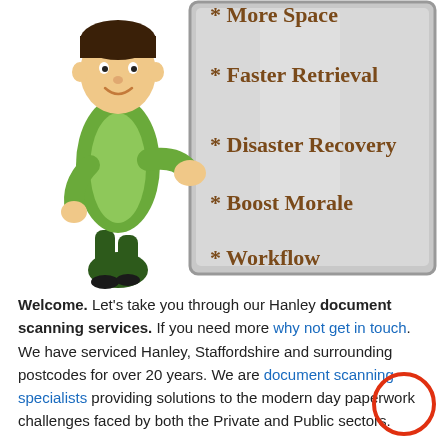[Figure (illustration): Cartoon illustration of a man in a green shirt pointing to a grey board/whiteboard listing items: * More Space (partially visible at top), * Faster Retrieval, * Disaster Recovery, * Boost Morale, * Workflow. The board has a grey metallic frame.]
Welcome. Let's take you through our Hanley document scanning services. If you need more why not get in touch. We have serviced Hanley, Staffordshire and surrounding postcodes for over 20 years. We are document scanning specialists providing solutions to the modern day paperwork challenges faced by both the Private and Public sectors.